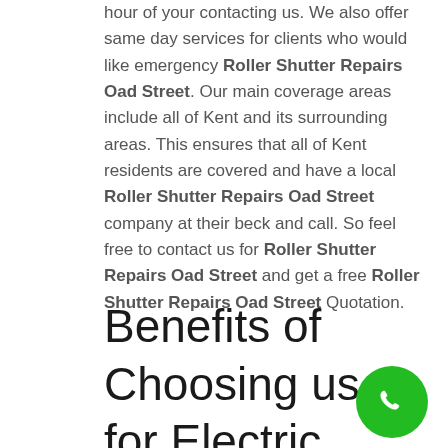hour of your contacting us. We also offer same day services for clients who would like emergency Roller Shutter Repairs Oad Street. Our main coverage areas include all of Kent and its surrounding areas. This ensures that all of Kent residents are covered and have a local Roller Shutter Repairs Oad Street company at their beck and call. So feel free to contact us for Roller Shutter Repairs Oad Street and get a free Roller Shutter Repairs Oad Street Quotation.
Benefits of Choosing us for Electric Shutter Repairs Oad Street
[Figure (other): Green circular phone/call button in the bottom right corner]